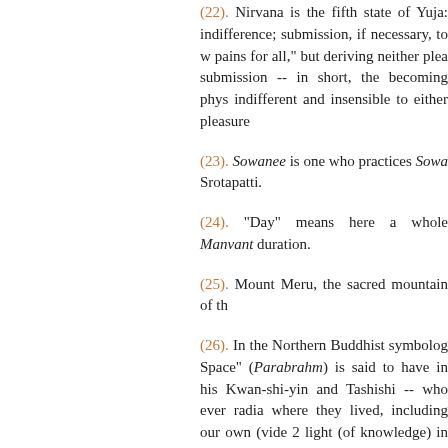(22). Nirvana is the fifth state of Yoga: indifference; submission, if necessary, to w-- pains for all, but deriving neither plea-- submission -- in short, the becoming phys-- indifferent and insensible to either pleasure
(23). Sowanee is one who practices Sowa-- Srotapatti.
(24). "Day" means here a whole Manvant-- duration.
(25). Mount Meru, the sacred mountain of th--
(26). In the Northern Buddhist symbolog-- Space" (Parabrahm) is said to have in his -- Kwan-shi-yin and Tashishi -- who ever radia-- where they lived, including our own (vide 2-- light (of knowledge) in the instruction of Y-- save men. Their exalted position in Amitab-- mercy performed by the two, as such Yog-- allegory.
(27). These three worlds are the three pla-- astral and the spiritual.